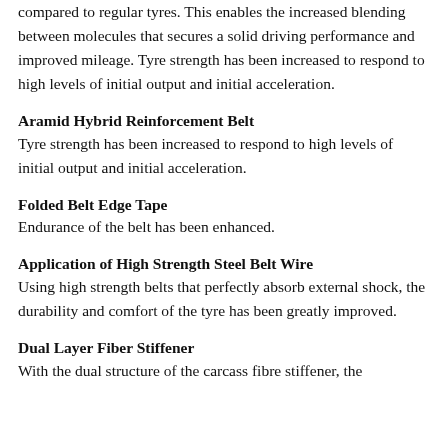compared to regular tyres. This enables the increased blending between molecules that secures a solid driving performance and improved mileage. Tyre strength has been increased to respond to high levels of initial output and initial acceleration.
Aramid Hybrid Reinforcement Belt
Tyre strength has been increased to respond to high levels of initial output and initial acceleration.
Folded Belt Edge Tape
Endurance of the belt has been enhanced.
Application of High Strength Steel Belt Wire
Using high strength belts that perfectly absorb external shock, the durability and comfort of the tyre has been greatly improved.
Dual Layer Fiber Stiffener
With the dual structure of the carcass fibre stiffener, the